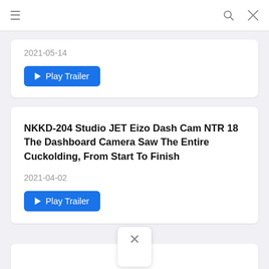≡  🔍  ✕
2021-05-14
▶ Play Trailer
NKKD-204 Studio JET Eizo Dash Cam NTR 18 The Dashboard Camera Saw The Entire Cuckolding, From Start To Finish
2021-04-02
▶ Play Trailer
✕